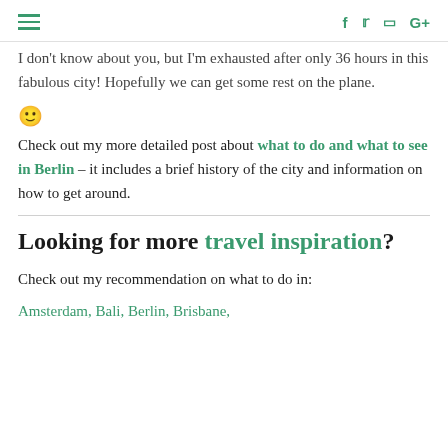[hamburger menu icon] [f] [twitter] [instagram] [G+]
I don't know about you, but I'm exhausted after only 36 hours in this fabulous city! Hopefully we can get some rest on the plane.
🙂
Check out my more detailed post about what to do and what to see in Berlin – it includes a brief history of the city and information on how to get around.
Looking for more travel inspiration?
Check out my recommendation on what to do in:
Amsterdam, Bali, Berlin, Brisbane,